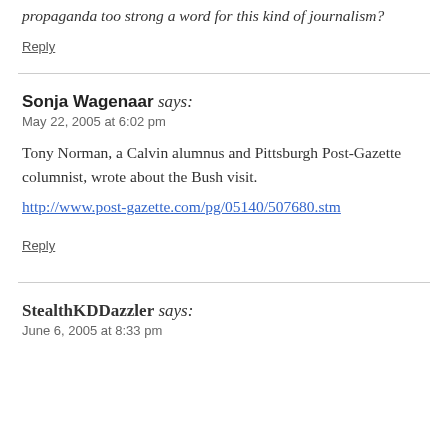propaganda too strong a word for this kind of journalism?
Reply
Sonja Wagenaar says:
May 22, 2005 at 6:02 pm
Tony Norman, a Calvin alumnus and Pittsburgh Post-Gazette columnist, wrote about the Bush visit.
http://www.post-gazette.com/pg/05140/507680.stm
Reply
StealthKDDazzler says:
June 6, 2005 at 8:33 pm